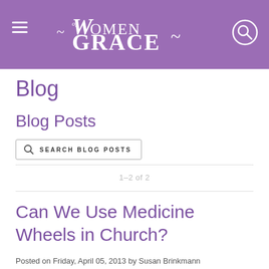Women of Grace
Blog
Blog Posts
SEARCH BLOG POSTS
1–2 of 2
Can We Use Medicine Wheels in Church?
Posted on Friday, April 05, 2013 by Susan Brinkmann